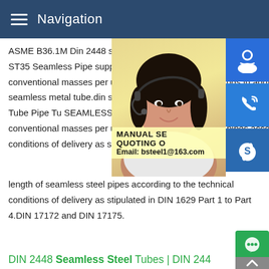Navigation
ASME B36.1M DIN 2448 seamless hot roll IndiaDIN 2448 Seamless Steel Tubes DIN DIN 2448 ST35 Seamless Pipe supplier.D that gives specifications for seamless carb including conventional masses per unit length,dimensions,couplings in addition to precision carbon seamless metal tube.din seamless pipe / tube.DIN 2448 SEAMLES TUBESGlobal Marketing for Tube Pipe Tu SEAMLESS STEEL PIPES AND TUBES 1 applies to the dimensions and the conventional masses per unit length of seamless steel pipes according to the technical conditions of delivery as stipulated in DIN 1629 Part 1 to Part 4.DIN 17172 and DIN 17175.
[Figure (photo): Woman with headset, customer service representative, with overlay showing MANUAL SE QUOTING O Email: bsteel1@163.com and sidebar icons for customer support, phone, and Skype]
DIN 2448 Seamless Steel Tubes | DIN 2448 ST35/ ST 52/ ST DIN 2448 SEAMLESS